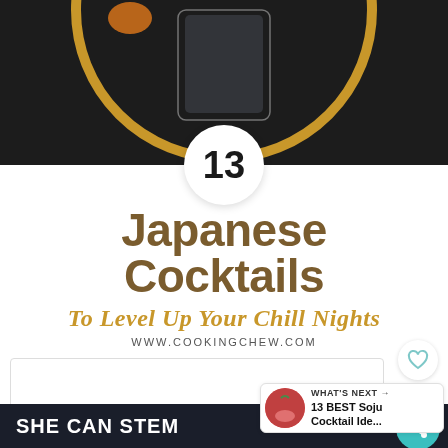[Figure (photo): Top portion of a cocktail glass on a dark background with a gold circular border, and a white circular badge showing '13']
13 Japanese Cocktails
To Level Up Your Chill Nights
WWW.COOKINGCHEW.COM
[Figure (other): Heart/like button and share button with count '2' on teal background]
[Figure (other): What's Next panel: thumbnail of a soju cocktail, text 'WHAT'S NEXT → 13 BEST Soju Cocktail Ide...']
WHAT'S NEXT → 13 BEST Soju Cocktail Ide...
SHE CAN STEM